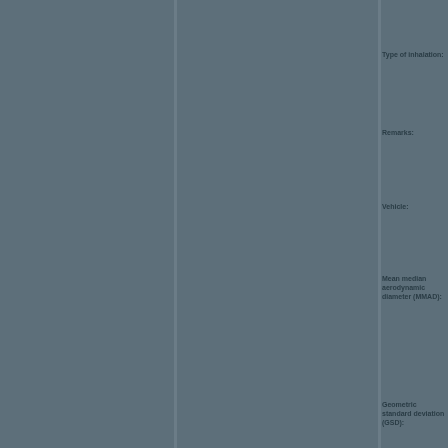Type of inhalation:
Remarks:
Vehicle:
Mean median aerodynamic diameter (MMAD):
Geometric standard deviation (GSD):
Remark on MMAD:
Details on inhalation exposure: